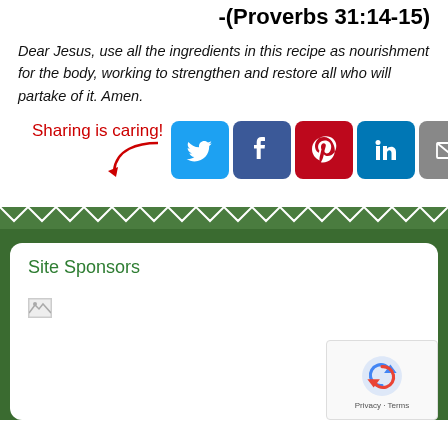-(Proverbs 31:14-15)
Dear Jesus, use all the ingredients in this recipe as nourishment for the body, working to strengthen and restore all who will partake of it. Amen.
[Figure (infographic): Sharing is caring! label with red arrow pointing to social media share buttons: Twitter, Facebook, Pinterest, LinkedIn, Email, Print, Save]
Site Sponsors
[Figure (other): Broken image placeholder for sponsor advertisement]
[Figure (other): reCAPTCHA widget showing recycle-like icon with Privacy and Terms text]